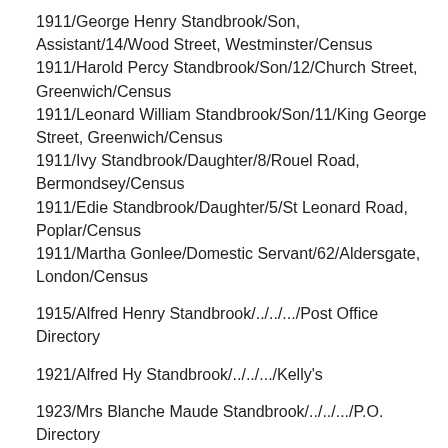1911/George Henry Standbrook/Son, Assistant/14/Wood Street, Westminster/Census
1911/Harold Percy Standbrook/Son/12/Church Street, Greenwich/Census
1911/Leonard William Standbrook/Son/11/King George Street, Greenwich/Census
1911/Ivy Standbrook/Daughter/8/Rouel Road, Bermondsey/Census
1911/Edie Standbrook/Daughter/5/St Leonard Road, Poplar/Census
1911/Martha Gonlee/Domestic Servant/62/Aldersgate, London/Census
1915/Alfred Henry Standbrook/../../.../Post Office Directory
1921/Alfred Hy Standbrook/../../.../Kelly's
1923/Mrs Blanche Maude Standbrook/../../.../P.O. Directory
**